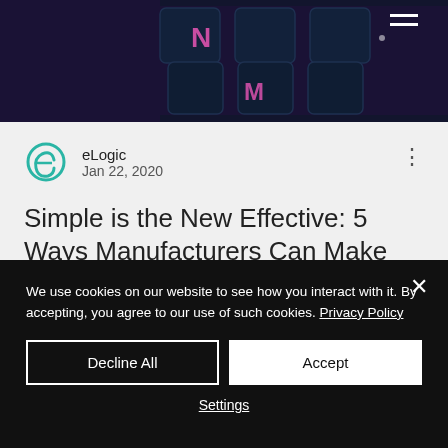[Figure (photo): Dark keyboard with purple/pink illuminated keys, hamburger menu icon in upper right corner]
eLogic
Jan 22, 2020
Simple is the New Effective: 5 Ways Manufacturers Can Make Data Reports Actionable
We use cookies on our website to see how you interact with it. By accepting, you agree to our use of such cookies. Privacy Policy
Decline All
Accept
Settings